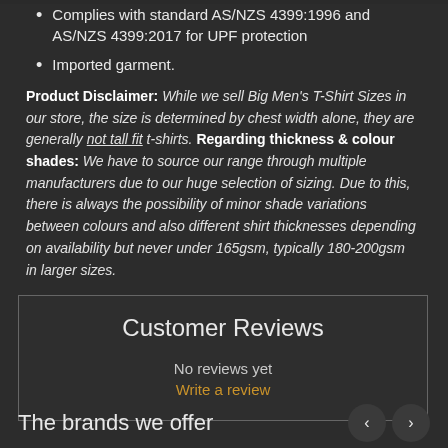Complies with standard AS/NZS 4399:1996 and AS/NZS 4399:2017 for UPF protection
Imported garment.
Product Disclaimer: While we sell Big Men's T-Shirt Sizes in our store, the size is determined by chest width alone, they are generally not tall fit t-shirts. Regarding thickness & colour shades: We have to source our range through multiple manufacturers due to our huge selection of sizing. Due to this, there is always the possibility of minor shade variations between colours and also different shirt thicknesses depending on availability but never under 165gsm, typically 180-200gsm in larger sizes.
Customer Reviews
No reviews yet
Write a review
The brands we offer